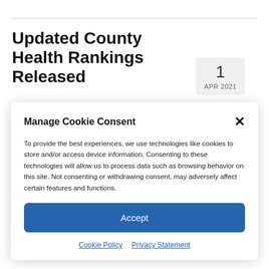Updated County Health Rankings Released
1
APR 2021
Manage Cookie Consent
To provide the best experiences, we use technologies like cookies to store and/or access device information. Consenting to these technologies will allow us to process data such as browsing behavior on this site. Not consenting or withdrawing consent, may adversely affect certain features and functions.
Accept
Cookie Policy   Privacy Statement